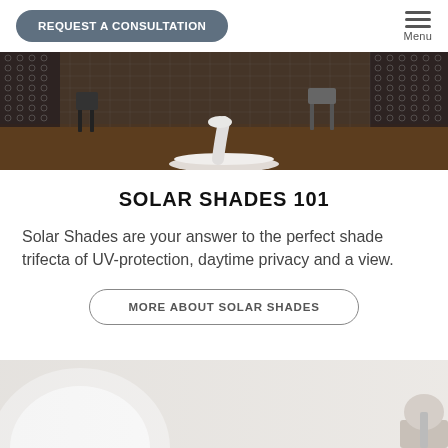REQUEST A CONSULTATION | Menu
[Figure (photo): Interior room with chairs and a tulip-style table, patterned curtains or shades in background, dark wood floor]
SOLAR SHADES 101
Solar Shades are your answer to the perfect shade trifecta of UV-protection, daytime privacy and a view.
MORE ABOUT SOLAR SHADES
[Figure (photo): Partial view of a room with a round white element and roller shade hardware, light background]